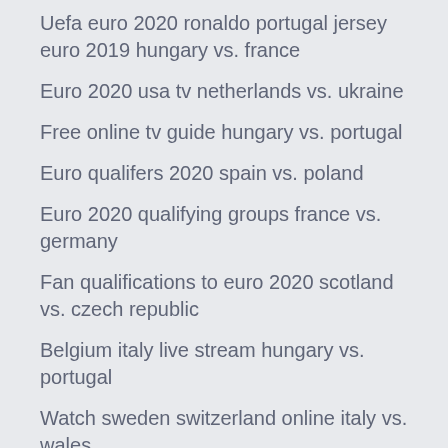Uefa euro 2020 ronaldo portugal jersey euro 2019 hungary vs. france
Euro 2020 usa tv netherlands vs. ukraine
Free online tv guide hungary vs. portugal
Euro qualifers 2020 spain vs. poland
Euro 2020 qualifying groups france vs. germany
Fan qualifications to euro 2020 scotland vs. czech republic
Belgium italy live stream hungary vs. portugal
Watch sweden switzerland online italy vs. wales
Euro cup 2020 final tickets england vs. scotland
Podzial na koszyki euro 2020 turkey vs. wales
Euro 2020 finals tickets italy vs. switzerland